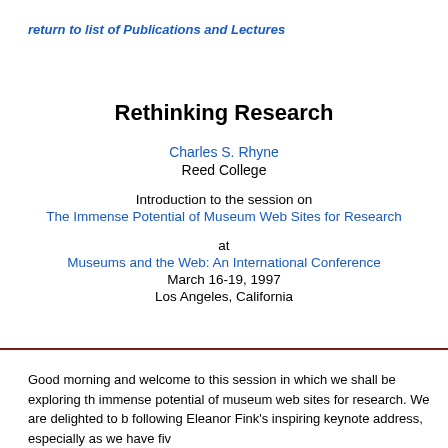return to list of Publications and Lectures
Rethinking Research
Charles S. Rhyne
Reed College
Introduction to the session on
The Immense Potential of Museum Web Sites for Research
at
Museums and the Web: An International Conference
March 16-19, 1997
Los Angeles, California
Good morning and welcome to this session in which we shall be exploring th immense potential of museum web sites for research. We are delighted to b following Eleanor Fink's inspiring keynote address, especially as we have fiv